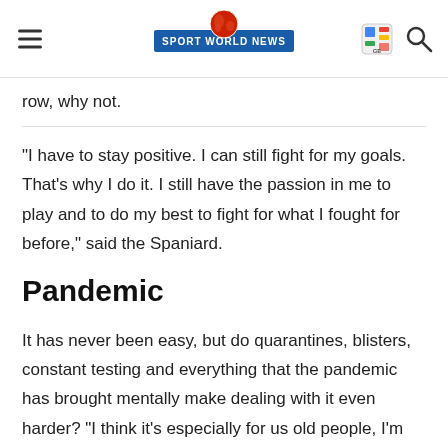Sport World News
row, why not.
"I have to stay positive. I can still fight for my goals. That's why I do it. I still have the passion in me to play and to do my best to fight for what I fought for before," said the Spaniard.
Pandemic
It has never been easy, but do quarantines, blisters, constant testing and everything that the pandemic has brought mentally make dealing with it even harder? "I think it's especially for us old people, I'm also old on the Tour, I've been here for